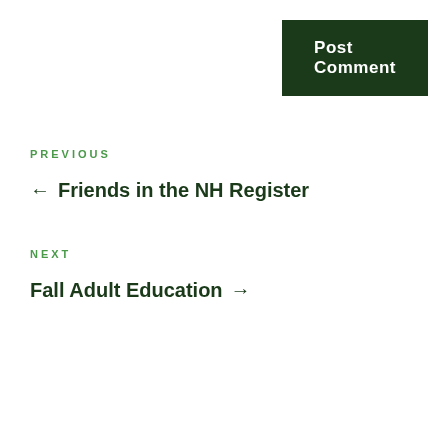Post Comment
PREVIOUS
← Friends in the NH Register
NEXT
Fall Adult Education →